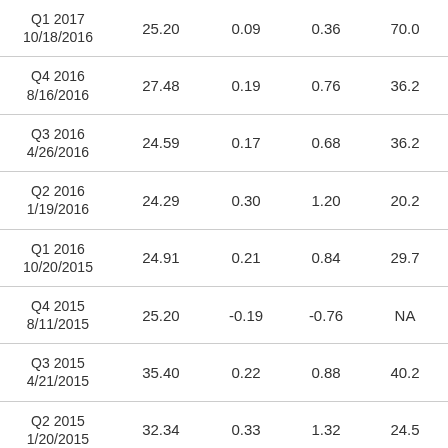| Q1 2017
10/18/2016 | 25.20 | 0.09 | 0.36 | 70.0 |
| Q4 2016
8/16/2016 | 27.48 | 0.19 | 0.76 | 36.2 |
| Q3 2016
4/26/2016 | 24.59 | 0.17 | 0.68 | 36.2 |
| Q2 2016
1/19/2016 | 24.29 | 0.30 | 1.20 | 20.2 |
| Q1 2016
10/20/2015 | 24.91 | 0.21 | 0.84 | 29.7 |
| Q4 2015
8/11/2015 | 25.20 | -0.19 | -0.76 | NA |
| Q3 2015
4/21/2015 | 35.40 | 0.22 | 0.88 | 40.2 |
| Q2 2015
1/20/2015 | 32.34 | 0.33 | 1.32 | 24.5 |
| Q1 2015
10/21/2014 | 33.15 | 0.24 | 0.96 | 34.5 |